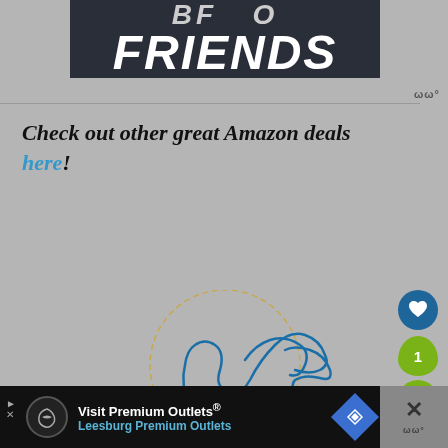[Figure (illustration): Dark banner image showing the word FRIENDS in large bold italic white text with partial text above]
Check out other great Amazon deals here!
[Figure (illustration): Circular dotted outline with a blue handwritten signature/autograph inside]
[Figure (infographic): Social interaction buttons: heart/like button (blue circle), number 1 badge (green), share button (green circle)]
[Figure (infographic): Bottom advertisement bar: Visit Premium Outlets® Leesburg Premium Outlets, with logo circle, navigation arrow icon, and close X button on right]